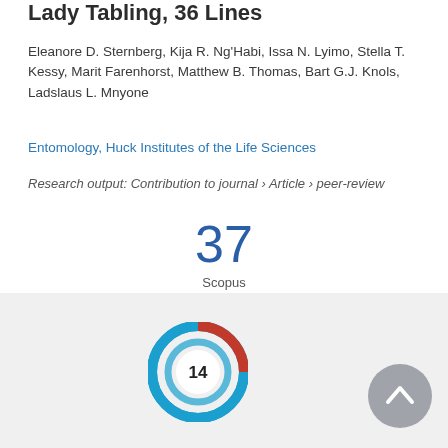...y Tabling, 36 Lines
Eleanore D. Sternberg, Kija R. Ng'Habi, Issa N. Lyimo, Stella T. Kessy, Marit Farenhorst, Matthew B. Thomas, Bart G.J. Knols, Ladslaus L. Mnyone
Entomology, Huck Institutes of the Life Sciences
Research output: Contribution to journal › Article › peer-review
[Figure (infographic): 37 Scopus citations badge]
[Figure (infographic): Altmetric donut badge showing score 14 with red and blue spiral design, and a grey scroll-to-top button]